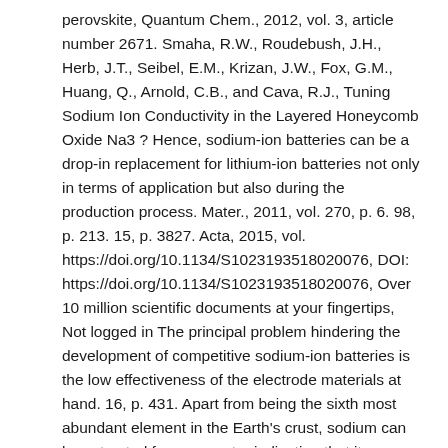perovskite, Quantum Chem., 2012, vol. 3, article number 2671. Smaha, R.W., Roudebush, J.H., Herb, J.T., Seibel, E.M., Krizan, J.W., Fox, G.M., Huang, Q., Arnold, C.B., and Cava, R.J., Tuning Sodium Ion Conductivity in the Layered Honeycomb Oxide Na3 ? Hence, sodium-ion batteries can be a drop-in replacement for lithium-ion batteries not only in terms of application but also during the production process. Mater., 2011, vol. 270, p. 6. 98, p. 213. 15, p. 3827. Acta, 2015, vol. https://doi.org/10.1134/S1023193518020076, DOI: https://doi.org/10.1134/S1023193518020076, Over 10 million scientific documents at your fingertips, Not logged in The principal problem hindering the development of competitive sodium-ion batteries is the low effectiveness of the electrode materials at hand. 16, p. 431. Apart from being the sixth most abundant element in the Earth's crust, sodium can be extracted from seawater indicating that its resources are